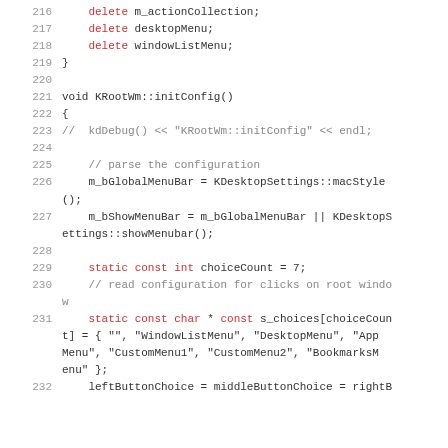Source code listing, lines 216-232, C++ code for KRootWm class
216     delete m_actionCollection;
217     delete desktopMenu;
218     delete windowListMenu;
219 }
220
221 void KRootWm::initConfig()
222 {
223 //  kdDebug() << "KRootWm::initConfig" << endl;
224
225     // parse the configuration
226     m_bGlobalMenuBar = KDesktopSettings::macStyle();
227     m_bShowMenuBar = m_bGlobalMenuBar || KDesktopSettings::showMenubar();
228
229     static const int choiceCount = 7;
230     // read configuration for clicks on root window
231     static const char * const s_choices[choiceCount] = { "", "WindowListMenu", "DesktopMenu", "AppMenu", "CustomMenu1", "CustomMenu2", "BookmarksMenu" };
232     leftButtonChoice = middleButtonChoice = rightB